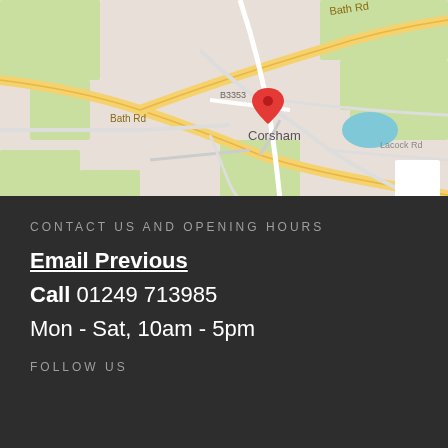[Figure (map): Google Maps screenshot showing Corsham area with roads including Bath Rd, B3353, B3109, Valley Rd, Lacock Rd, and a red location pin marker over Corsham town.]
CONTACT US AND OPENING HOURS
Email Previous
Call 01249 713985
Mon - Sat, 10am - 5pm
FOLLOW US